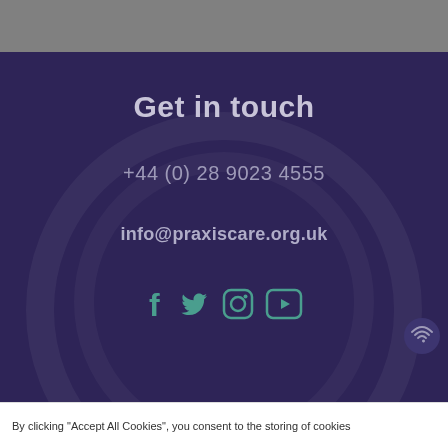Get in touch
+44 (0) 28 9023 4555
info@praxiscare.org.uk
[Figure (illustration): Social media icons: Facebook, Twitter, Instagram, YouTube]
By clicking "Accept All Cookies", you consent to the storing of cookies